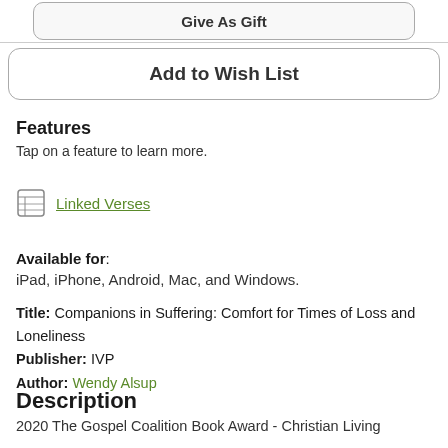Give As Gift
Add to Wish List
Features
Tap on a feature to learn more.
Linked Verses
Available for: iPad, iPhone, Android, Mac, and Windows.
Title: Companions in Suffering: Comfort for Times of Loss and Loneliness Publisher: IVP Author: Wendy Alsup
Description
2020 The Gospel Coalition Book Award - Christian Living